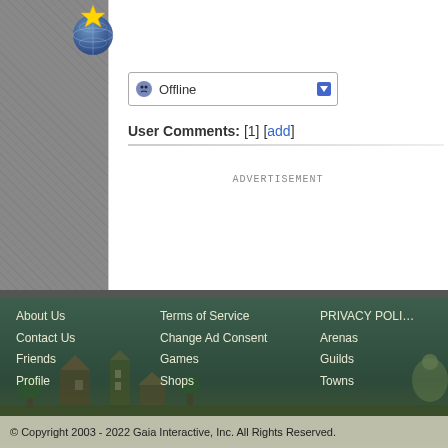[Figure (illustration): Star/globe icon at top of profile area]
Offline (dropdown selector)
User Comments: [1] [add]
ADVERTISEMENT
About Us
Contact Us
Friends
Profile
Terms of Service
Change Ad Consent
Games
Shops
PRIVACY POLI…
Arenas
Guilds
Towns
© Copyright 2003 - 2022 Gaia Interactive, Inc. All Rights Reserved.